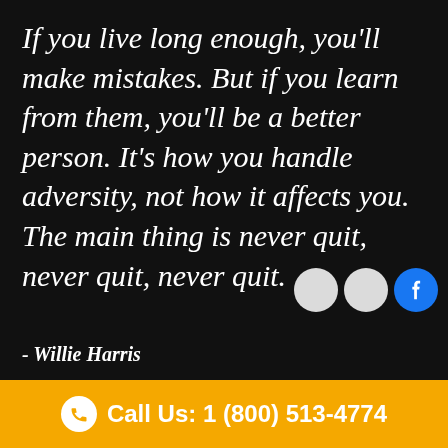If you live long enough, you'll make mistakes. But if you learn from them, you'll be a better person. It's how you handle adversity, not how it affects you. The main thing is never quit, never quit, never quit.
- Willie Harris
Call Us: 1 (800) 513-4774